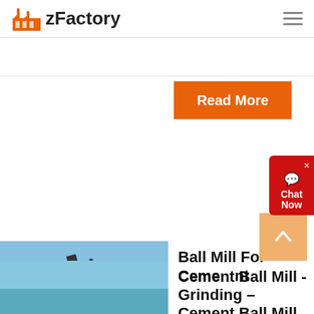zFactory
Read More
[Figure (other): Chat Now widget button in red]
[Figure (photo): Industrial cement grinding facility with conveyor belts and structures against blue sky]
Read More
Ball Mill For Cement Grinding – Cement Ball Mill Ball ...
Cement ball mill is a kind of impo...
[Figure (other): Back to top arrow button in peach/orange color]
Cement Ball Mill -